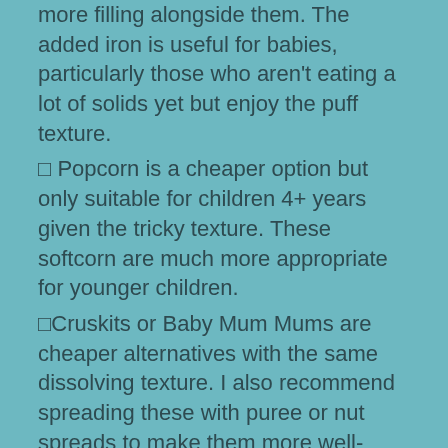more filling alongside them. The added iron is useful for babies, particularly those who aren't eating a lot of solids yet but enjoy the puff texture.
◻ Popcorn is a cheaper option but only suitable for children 4+ years given the tricky texture. These softcorn are much more appropriate for younger children.
◻Cruskits or Baby Mum Mums are cheaper alternatives with the same dissolving texture. I also recommend spreading these with puree or nut spreads to make them more well-rounded.
About Toddler Mealtimes
Toddler Mealtimes is an online